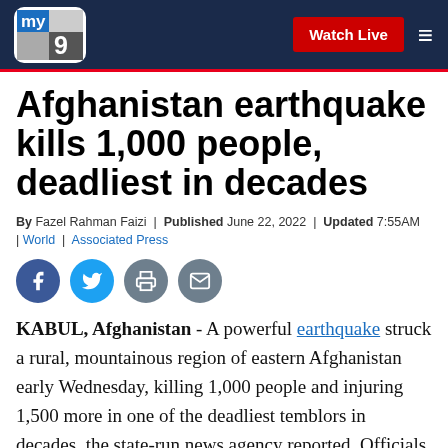my9 | Watch Live
Afghanistan earthquake kills 1,000 people, deadliest in decades
By Fazel Rahman Faizi | Published June 22, 2022 | Updated 7:55AM | World | Associated Press
[Figure (other): Social sharing icons: Facebook, Twitter, Print, Email]
KABUL, Afghanistan - A powerful earthquake struck a rural, mountainous region of eastern Afghanistan early Wednesday, killing 1,000 people and injuring 1,500 more in one of the deadliest temblors in decades, the state-run news agency reported. Officials warned